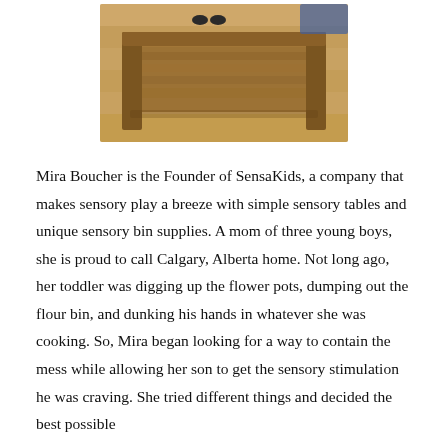[Figure (photo): A wooden sensory table or tray photographed from above, showing wood grain surface with frame legs visible, placed on a light wood floor.]
Mira Boucher is the Founder of SensaKids, a company that makes sensory play a breeze with simple sensory tables and unique sensory bin supplies. A mom of three young boys, she is proud to call Calgary, Alberta home. Not long ago, her toddler was digging up the flower pots, dumping out the flour bin, and dunking his hands in whatever she was cooking. So, Mira began looking for a way to contain the mess while allowing her son to get the sensory stimulation he was craving. She tried different things and decided the best possible